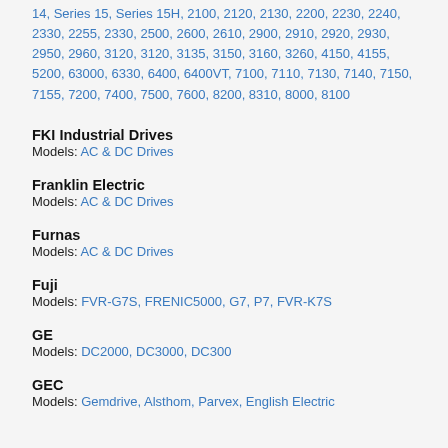14, Series 15, Series 15H, 2100, 2120, 2130, 2200, 2230, 2240, 2330, 2255, 2330, 2500, 2600, 2610, 2900, 2910, 2920, 2930, 2950, 2960, 3120, 3120, 3135, 3150, 3160, 3260, 4150, 4155, 5200, 63000, 6330, 6400, 6400VT, 7100, 7110, 7130, 7140, 7150, 7155, 7200, 7400, 7500, 7600, 8200, 8310, 8000, 8100
FKI Industrial Drives
Models: AC & DC Drives
Franklin Electric
Models: AC & DC Drives
Furnas
Models: AC & DC Drives
Fuji
Models: FVR-G7S, FRENIC5000, G7, P7, FVR-K7S
GE
Models: DC2000, DC3000, DC300
GEC
Models: Gemdrive, Alsthom, Parvex, English Electric